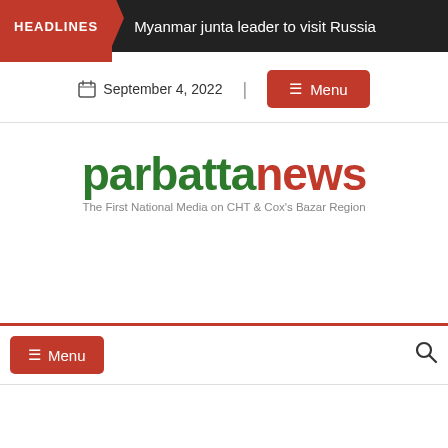HEADLINES | Myanmar junta leader to visit Russia
September 4, 2022 | Menu
[Figure (logo): Parbatta News logo — 'parbatta' in green bold text and 'news' in red bold text, with tagline 'The First National Media on CHT & Cox's Bazar Region' in gray below]
≡ Menu